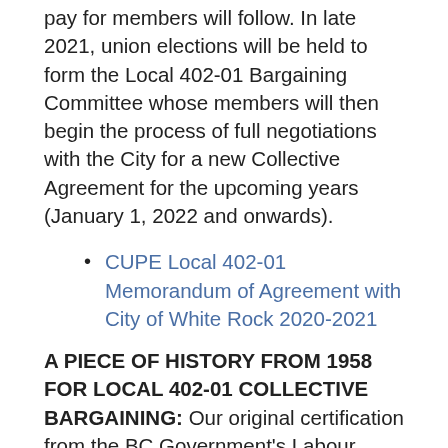pay for members will follow. In late 2021, union elections will be held to form the Local 402-01 Bargaining Committee whose members will then begin the process of full negotiations with the City for a new Collective Agreement for the upcoming years (January 1, 2022 and onwards).
CUPE Local 402-01 Memorandum of Agreement with City of White Rock 2020-2021
A PIECE OF HISTORY FROM 1958 FOR LOCAL 402-01 COLLECTIVE BARGAINING: Our original certification from the BC Government's Labour Relations Board that recognized White Rock City Workers as a "trade union for the purposes of collective bargaining".
CUPE Local 402-01 Certification 1958